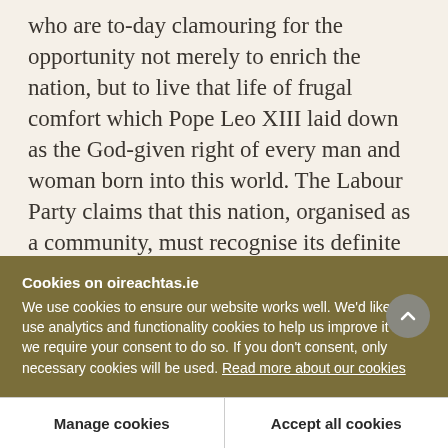who are to-day clamouring for the opportunity not merely to enrich the nation, but to live that life of frugal comfort which Pope Leo XIII laid down as the God-given right of every man and woman born into this world. The Labour Party claims that this nation, organised as a community, must recognise its definite obligation to provide work for the men and women who are at present unemployed and failing the provision of work there must be adequate maintenance provided for our unemployed men and women. I hope the Fianna Fáil Party will have...
Cookies on oireachtas.ie
We use cookies to ensure our website works well. We'd like to use analytics and functionality cookies to help us improve it but we require your consent to do so. If you don't consent, only necessary cookies will be used. Read more about our cookies
Manage cookies
Accept all cookies